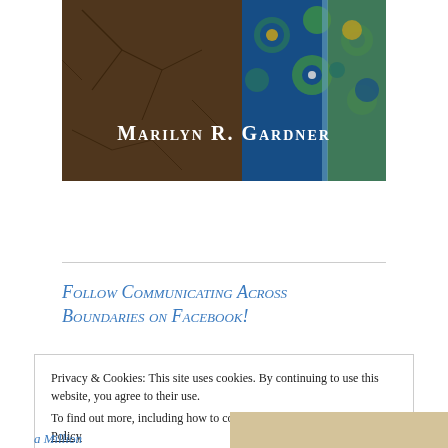[Figure (photo): Book cover or decorative header image showing cracked earth on the left and colorful Islamic tile patterns in blue, green, yellow on the right, with text 'Marilyn R. Gardner' in white serif font overlaid]
Follow Communicating Across Boundaries on Facebook!
Privacy & Cookies: This site uses cookies. By continuing to use this website, you agree to their use.
To find out more, including how to control cookies, see here: Cookie Policy
Close and accept
a Million